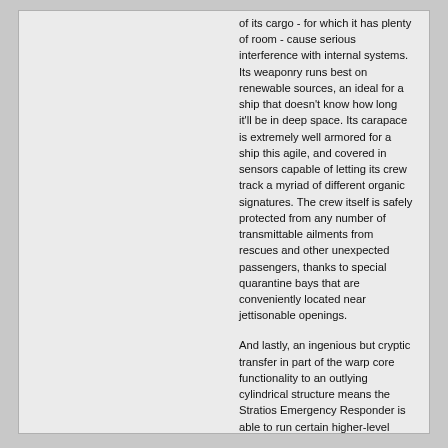of its cargo - for which it has plenty of room - cause serious interference with internal systems. Its weaponry runs best on renewable sources, an ideal for a ship that doesn't know how long it'll be in deep space. Its carapace is extremely well armored for a ship this agile, and covered in sensors capable of letting its crew track a myriad of different organic signatures. The crew itself is safely protected from any number of transmittable ailments from rescues and other unexpected passengers, thanks to special quarantine bays that are conveniently located near jettisonable openings.
And lastly, an ingenious but cryptic transfer in part of the warp core functionality to an outlying cylindrical structure means the Stratios Emergency Responder is able to run certain higher-level cloaking functions with very little technical cost, and minimal interference from warp. The Sisters of EVE have refused to comment on this technology, other than to recommend it not be tampered with.